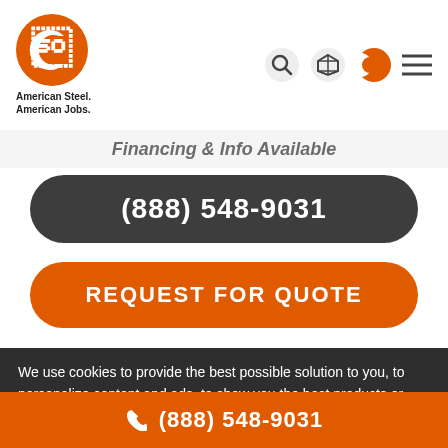[Figure (logo): American Steel Carports logo - orange circle with white C letter, tagline reads American Steel. American Jobs.]
[Figure (screenshot): Navigation icons: search magnifier, box/package icon, orange phone icon, hamburger menu]
Financing & Info Available
(888) 548-9031
REQUEST FOR QUOTE
We use cookies to provide the best possible solution to you, to personalize content and ads, to show you the best products or services you're looking for. For more details visit Privacy Policy.
OK, THANKS
[Figure (photo): Partial view of steel building/carport structure, colorful roofing visible]
(888) 548-9031